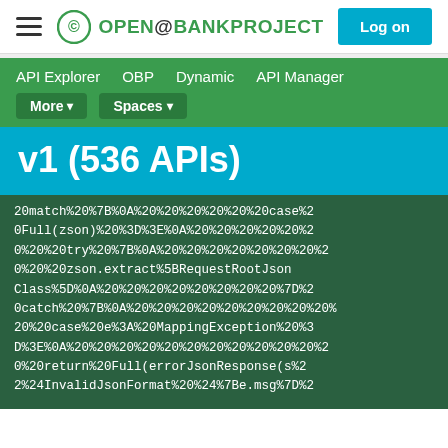OPENBANKPROJECT — Log on
API Explorer   OBP   Dynamic   API Manager   More ▾   Spaces ▾
v1 (536 APIs)
20match%20%7B%0A%20%20%20%20%20%20case%20Full(zson)%20%3D%3E%0A%20%20%20%20%20%20%20%20try%20%7B%0A%20%20%20%20%20%20%20%20%20%20zson.extract%5BRequestRootJsonClass%5D%0A%20%20%20%20%20%20%20%20%7D%20catch%20%7B%0A%20%20%20%20%20%20%20%20%20%20case%20e%3A%20MappingException%20%3D%3E%0A%20%20%20%20%20%20%20%20%20%20%20%20return%20Full(errorJsonResponse(s%22%24InvalidJsonFormat%20%24%7Be.msg%7D%2